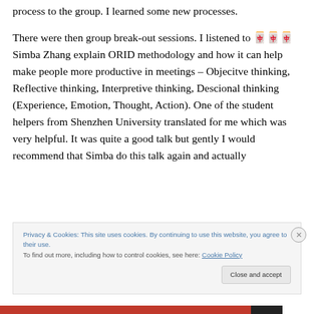process to the group. I learned some new processes.
There were then group break-out sessions. I listened to 🀄🀄🀄 Simba Zhang explain ORID methodology and how it can help make people more productive in meetings – Objecitve thinking, Reflective thinking, Interpretive thinking, Descional thinking (Experience, Emotion, Thought, Action). One of the student helpers from Shenzhen University translated for me which was very helpful. It was quite a good talk but gently I would recommend that Simba do this talk again and actually
Privacy & Cookies: This site uses cookies. By continuing to use this website, you agree to their use.
To find out more, including how to control cookies, see here: Cookie Policy
Close and accept